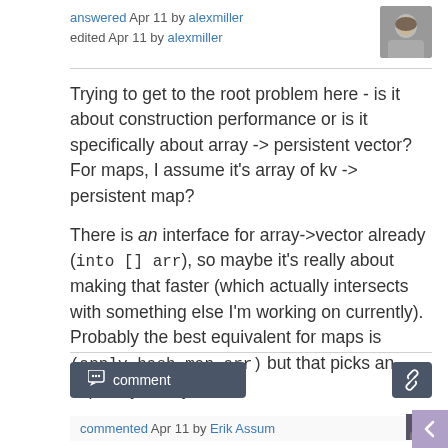answered Apr 11 by alexmiller
edited Apr 11 by alexmiller
Trying to get to the root problem here - is it about construction performance or is it specifically about array -> persistent vector? For maps, I assume it's array of kv -> persistent map?
There is an interface for array->vector already (into [] arr), so maybe it's really about making that faster (which actually intersects with something else I'm working on currently). Probably the best equivalent for maps is (apply hash-map arr) but that picks an impl as you say.
comment
commented Apr 11 by Erik Assum